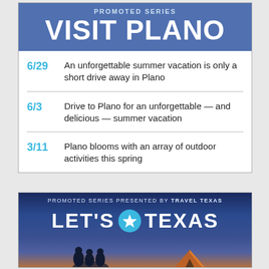PROMOTED SERIES
VISIT PLANO
6/29  An unforgettable summer vacation is only a short drive away in Plano
6/3  Drive to Plano for an unforgettable — and delicious — summer vacation
3/11  Plano blooms with an array of outdoor activities this spring
[Figure (illustration): Promoted Series presented by Travel Texas. LET'S TEXAS logo with Texas star icon, silhouette of people and a tent in the background against a blue/teal sky.]